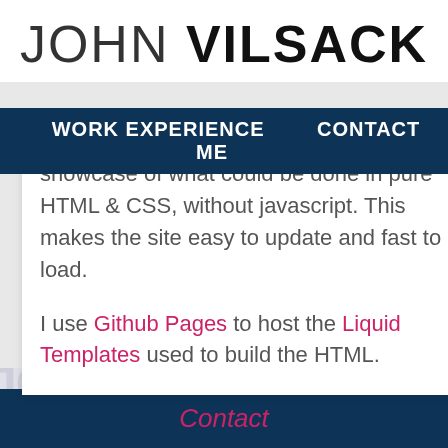JOHN VILSACK
WORK EXPERIENCE   CONTACT ME
showcase of what could be done in pure HTML & CSS, without javascript. This makes the site easy to update and fast to load.
I use Github Pages to host the Liquid Templates used to build the HTML.
Contact